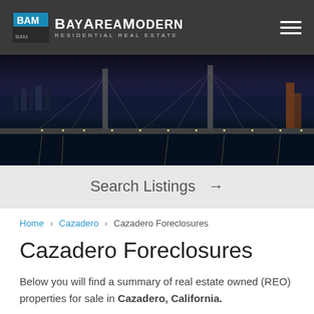BayAreaModern Residential Real Estate
[Figure (photo): Night aerial photograph of a bridge over a bay, with city lights reflected in the water]
Search Listings →
Home > Cazadero > Cazadero Foreclosures
Cazadero Foreclosures
Below you will find a summary of real estate owned (REO) properties for sale in Cazadero, California.